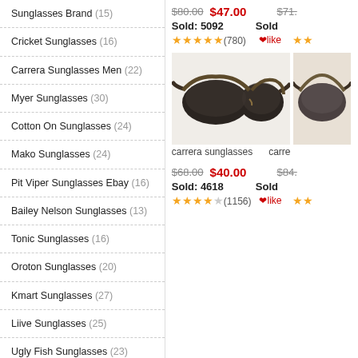Sunglasses Brand (15)
Cricket Sunglasses (16)
Carrera Sunglasses Men (22)
Myer Sunglasses (30)
Cotton On Sunglasses (24)
Mako Sunglasses (24)
Pit Viper Sunglasses Ebay (16)
Bailey Nelson Sunglasses (13)
Tonic Sunglasses (16)
Oroton Sunglasses (20)
Kmart Sunglasses (27)
Liive Sunglasses (25)
Ugly Fish Sunglasses (23)
Opsm Sunglasses (30)
Arnettes Sunglasses (25)
$80.00  $47.00  $71.  Sold: 5092  Sold  ★★★★★(780)  ❤like ★★
[Figure (photo): Carrera sunglasses product photo - dark tortoiseshell aviator style sunglasses]
carrera sunglasses  carre
$68.00  $40.00  $84.  Sold: 4618  Sold  ★★★★(1156)  ❤like ★★